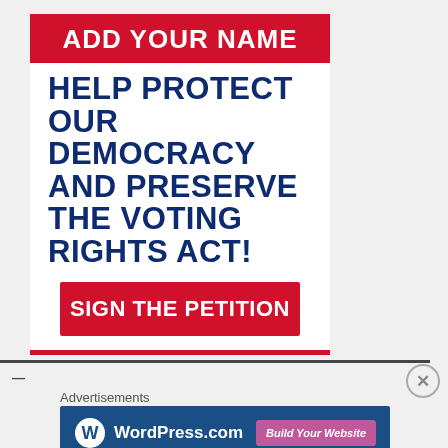ADD YOUR NAME
HELP PROTECT OUR DEMOCRACY AND PRESERVE THE VOTING RIGHTS ACT!
SIGN THE PETITION
Advertisements
[Figure (logo): WordPress.com logo with Build Your Website button on dark blue background]